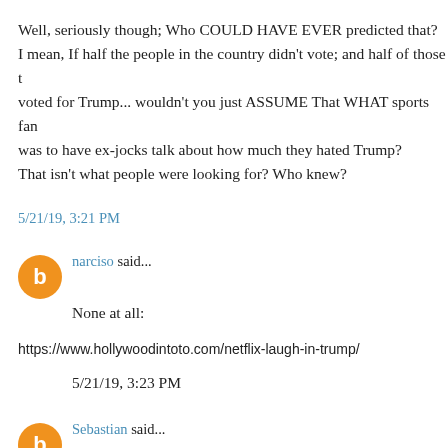Well, seriously though; Who COULD HAVE EVER predicted that? I mean, If half the people in the country didn't vote; and half of those that voted for Trump... wouldn't you just ASSUME That WHAT sports fans was to have ex-jocks talk about how much they hated Trump? That isn't what people were looking for? Who knew?
5/21/19, 3:21 PM
narciso said...
None at all:
https://www.hollywoodintoto.com/netflix-laugh-in-trump/
5/21/19, 3:23 PM
Sebastian said...
"They are thick beyond measure."
They are and they aren't. Sure, they don't really understand why we vo...